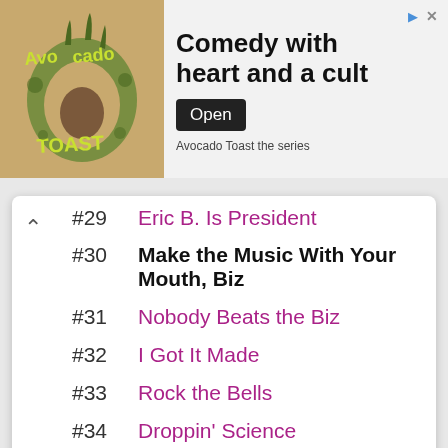[Figure (illustration): Avocado Toast podcast/series advertisement banner. Left side shows illustrated avocado toast logo on tan/khaki background. Right side has white background with headline 'Comedy with heart and a cult', an 'Open' button, and subtitle 'Avocado Toast the series'.]
#29 Eric B. Is President
#30 Make the Music With Your Mouth, Biz
#31 Nobody Beats the Biz
#32 I Got It Made
#33 Rock the Bells
#34 Droppin' Science